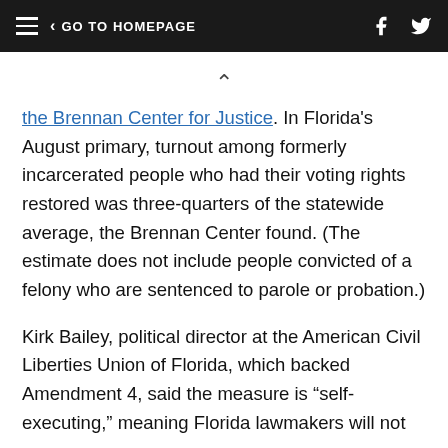GO TO HOMEPAGE
the Brennan Center for Justice. In Florida's August primary, turnout among formerly incarcerated people who had their voting rights restored was three-quarters of the statewide average, the Brennan Center found. (The estimate does not include people convicted of a felony who are sentenced to parole or probation.)
Kirk Bailey, political director at the American Civil Liberties Union of Florida, which backed Amendment 4, said the measure is “self-executing,” meaning Florida lawmakers will not